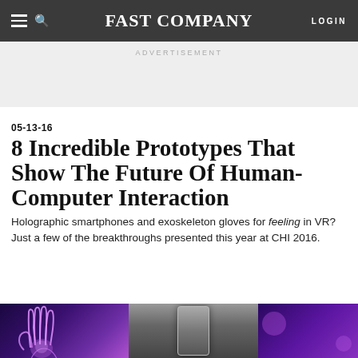FAST COMPANY  LOGIN
ADVERTISEMENT
05-13-16
8 Incredible Prototypes That Show The Future Of Human-Computer Interaction
Holographic smartphones and exoskeleton gloves for feeling in VR? Just a few of the breakthroughs presented this year at CHI 2016.
[Figure (photo): Bottom strip photo showing a glowing hand on a purple/blue background on the left, a smartphone device in the center, and a dark purple background on the right.]